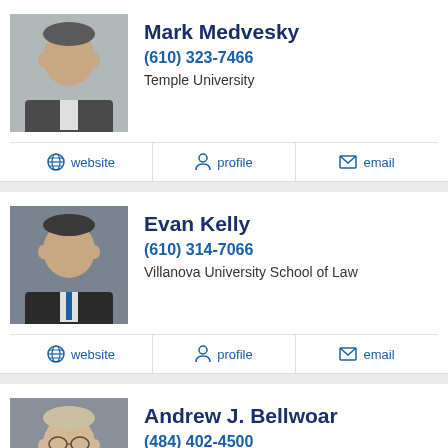[Figure (photo): Headshot of Mark Medvesky]
Mark Medvesky
(610) 323-7466
Temple University
website  profile  email
[Figure (photo): Headshot of Evan Kelly]
Evan Kelly
(610) 314-7066
Villanova University School of Law
website  profile  email
[Figure (photo): Headshot of Andrew J. Bellwoar]
Andrew J. Bellwoar
(484) 402-4500
Villanova University School of Law